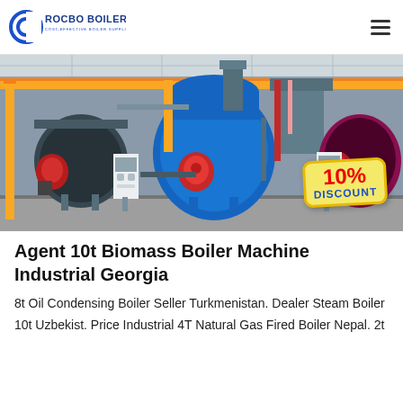ROCBO BOILER — COST-EFFECTIVE BOILER SUPPLIER
[Figure (photo): Industrial boiler room showing three large blue cylindrical boilers connected by yellow overhead pipes, with control panels, in a concrete warehouse. A yellow starburst badge in bottom-right reads '10% DISCOUNT'.]
Agent 10t Biomass Boiler Machine Industrial Georgia
8t Oil Condensing Boiler Seller Turkmenistan. Dealer Steam Boiler 10t Uzbekist. Price Industrial 4T Natural Gas Fired Boiler Nepal. 2t